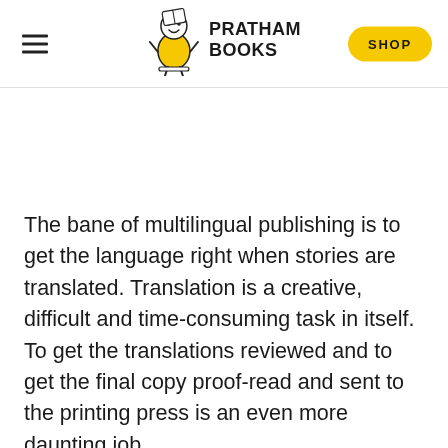[Figure (logo): Pratham Books logo: cartoon character in yellow dress sitting on stool holding a book, with text PRATHAM BOOKS]
The bane of multilingual publishing is to get the language right when stories are translated. Translation is a creative, difficult and time-consuming task in itself. To get the translations reviewed and to get the final copy proof-read and sent to the printing press is an even more daunting job.